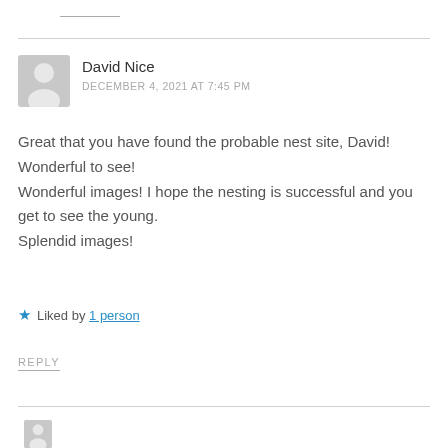David Nice
DECEMBER 4, 2021 AT 7:45 PM
Great that you have found the probable nest site, David! Wonderful to see!
Wonderful images! I hope the nesting is successful and you get to see the young.
Splendid images!
★ Liked by 1 person
REPLY